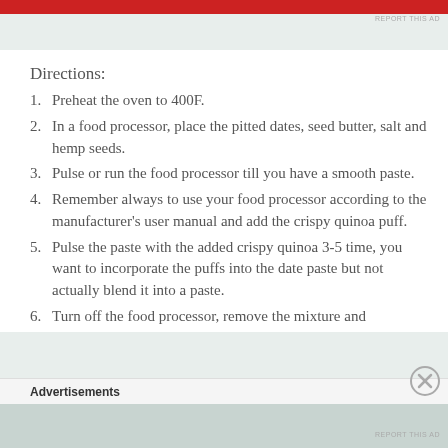REPORT THIS AD
Directions:
Preheat the oven to 400F.
In a food processor, place the pitted dates, seed butter, salt and hemp seeds.
Pulse or run the food processor till you have a smooth paste.
Remember always to use your food processor according to the manufacturer's user manual and add the crispy quinoa puff.
Pulse the paste with the added crispy quinoa 3-5 time, you want to incorporate the puffs into the date paste but not actually blend it into a paste.
Turn off the food processor, remove the mixture and
Advertisements